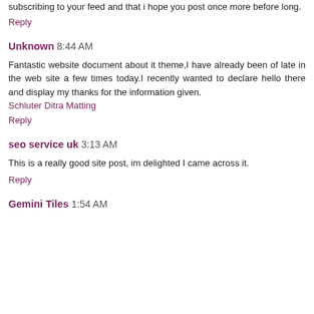subscribing to your feed and that i hope you post once more before long.
Reply
Unknown  8:44 AM
Fantastic website document about it theme,I have already been of late in the web site a few times today.I recently wanted to declare hello there and display my thanks for the information given.
Schluter Ditra Matting
Reply
seo service uk  3:13 AM
This is a really good site post, im delighted I came across it.
Reply
Gemini Tiles  1:54 AM